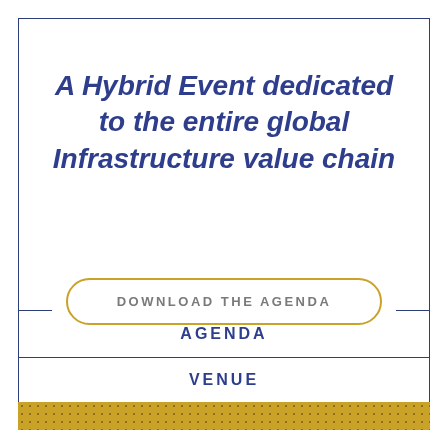A Hybrid Event dedicated to the entire global Infrastructure value chain
DOWNLOAD THE AGENDA
| AGENDA |
| VENUE |